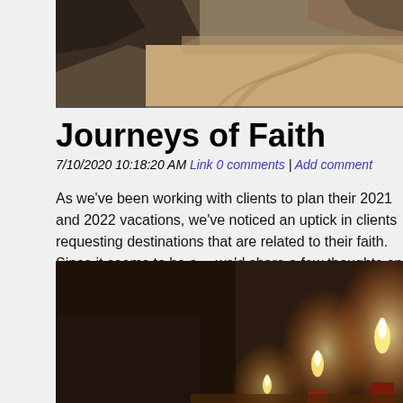[Figure (photo): Aerial view of a desert landscape with rocky terrain, cliffs, and winding sandy paths.]
Journeys of Faith
7/10/2020 10:18:20 AM Link 0 comments | Add comment
As we've been working with clients to plan their 2021 and 2022 vacations, we've noticed an uptick in clients requesting destinations that are related to their faith. Since it seems to be a growing trend, we'd share a few thoughts on selecting a journey of faith.
[Figure (photo): Dark atmospheric photo of lit candles with warm glowing flames against a dark brown background.]